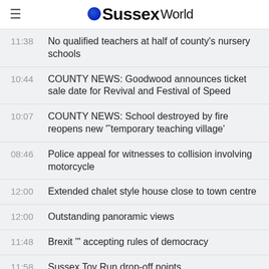≡ oSussexWorld
11:38  No qualified teachers at half of county's nursery schools
10:44  COUNTY NEWS: Goodwood announces ticket sale date for Revival and Festival of Speed
10:07  COUNTY NEWS: School destroyed by fire reopens new '˜temporary teaching village'
08:46  Police appeal for witnesses to collision involving motorcycle
12:00  Extended chalet style house close to town centre
12:00  Outstanding panoramic views
11:48  Brexit '" accepting rules of democracy
11:58  Sussex Toy Run drop-off points